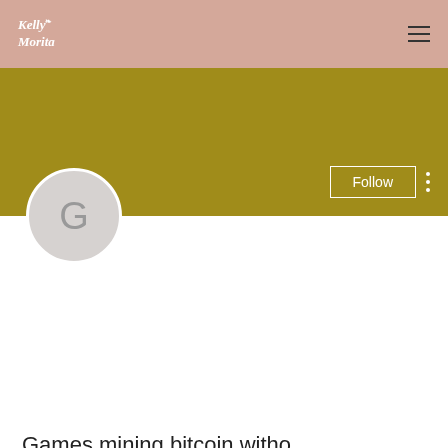Kelly Morita
[Figure (illustration): Olive/gold colored banner background with Follow button and three vertical dots menu]
[Figure (illustration): Circular avatar with letter G on light grey background]
Games mining bitcoin witho...
0 Followers • 0 Following
[Figure (other): Dropdown selector box with chevron arrow]
Profile
Join date: May 17, 2022
About